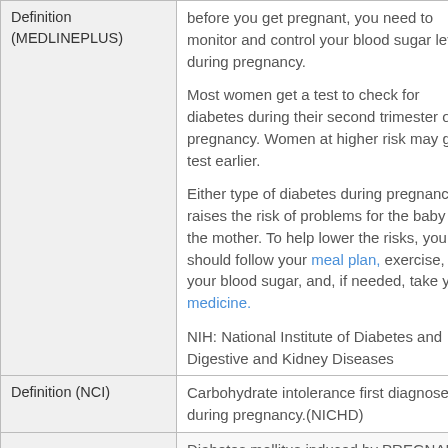|  |  |
| --- | --- |
| Definition (MEDLINEPLUS) | before you get pregnant, you need to monitor and control your blood sugar levels during pregnancy.

Most women get a test to check for diabetes during their second trimester of pregnancy. Women at higher risk may get a test earlier.

Either type of diabetes during pregnancy raises the risk of problems for the baby and the mother. To help lower the risks, you should follow your meal plan, exercise, test your blood sugar, and, if needed, take your medicine.

NIH: National Institute of Diabetes and Digestive and Kidney Diseases |
| Definition (NCI) | Carbohydrate intolerance first diagnosed during pregnancy.(NICHD) |
|  | Diabetes mellitus induced by PREGNANCY but resolved at the end of pregnancy... |